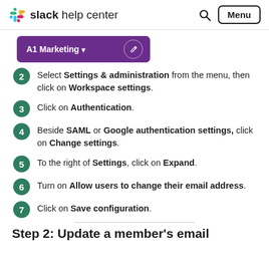slack help center
[Figure (screenshot): A1 Marketing workspace name in purple header bar with edit icon]
Select Settings & administration from the menu, then click on Workspace settings.
Click on Authentication.
Beside SAML or Google authentication settings, click on Change settings.
To the right of Settings, click on Expand.
Turn on Allow users to change their email address.
Click on Save configuration.
Step 2: Update a member's email